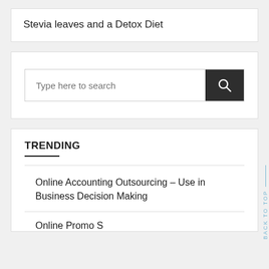Stevia leaves and a Detox Diet
Type here to search
TRENDING
Online Accounting Outsourcing – Use in Business Decision Making
Online Promo S...